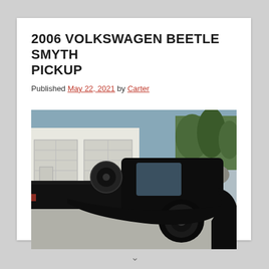2006 VOLKSWAGEN BEETLE SMYTH PICKUP
Published May 22, 2021 by Carter
[Figure (photo): A black 2006 Volkswagen Beetle Smyth pickup truck conversion parked in front of white garage doors with trees visible in the background. The rear pickup bed is visible with a spare tire mounted inside.]